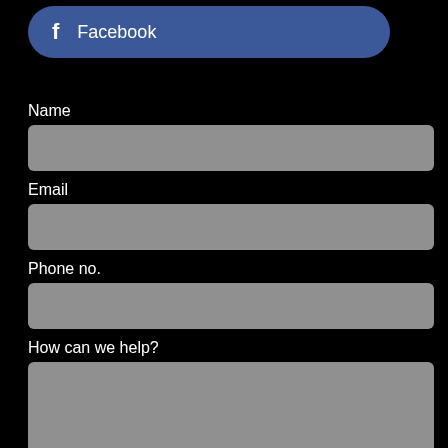[Figure (screenshot): Facebook login/connect button with 'f' icon and 'Facebook' text on a blue rounded rectangle button against a black background]
Name
[Figure (other): Gray rounded rectangle input field for Name]
Email
[Figure (other): Gray rounded rectangle input field for Email]
Phone no.
[Figure (other): Gray rounded rectangle input field for Phone no.]
How can we help?
[Figure (other): Gray rounded rectangle textarea for How can we help?]